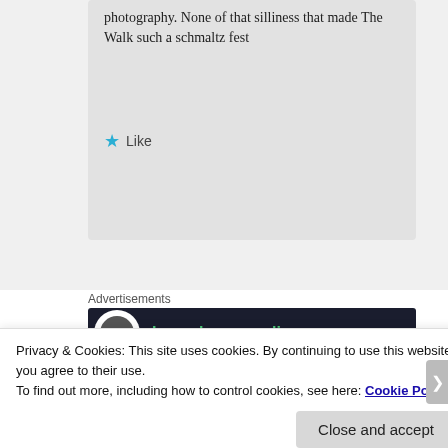photography. None of that silliness that made The Walk such a schmaltz fest
Like
Advertisements
[Figure (screenshot): Dark advertisement banner with circular logo icon, green text 'Launch your online' and 'Learn More' button on dark background]
[Figure (photo): Partial photo of a person with blonde hair]
Privacy & Cookies: This site uses cookies. By continuing to use this website, you agree to their use.
To find out more, including how to control cookies, see here: Cookie Policy
Close and accept